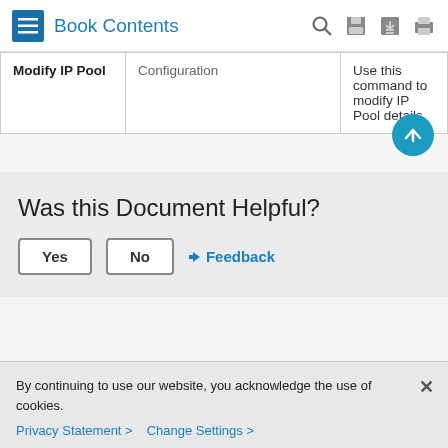Book Contents
| Command | Mode | Description |
| --- | --- | --- |
| Modify IP Pool | Configuration | Use this command to modify IP Pool details. |
Was this Document Helpful?
Yes   No   ← Feedback
By continuing to use our website, you acknowledge the use of cookies.
Privacy Statement >   Change Settings >